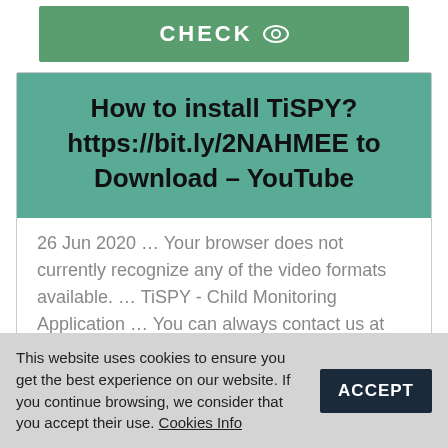[Figure (screenshot): Green button with text CHECK and an eye icon]
How to install TiSPY? https://bit.ly/2NAHMEE to Download – YouTube
26 Jun 2020 … Your browser does not currently recognize any of the video formats available. … TiSPY - Child Monitoring Application … You can always contact us at support@tispy.net … Download Application from https://bit.ly/2NAHMEE. 3
This website uses cookies to ensure you get the best experience on our website. If you continue browsing, we consider that you accept their use. Cookies Info